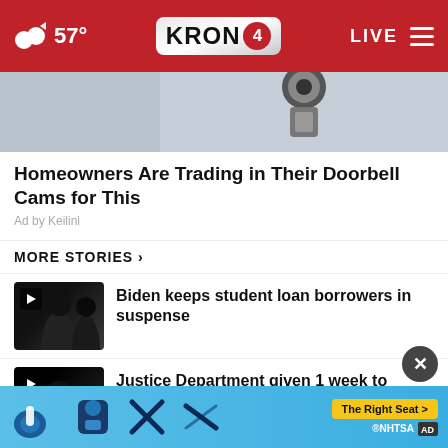KRON 4 — 57° LIVE
[Figure (photo): Security camera mounted on a wall, ad image for Keilini doorbell cam replacement product]
Homeowners Are Trading in Their Doorbell Cams for This
Ad by Keilini
MORE STORIES ›
Biden keeps student loan borrowers in suspense
Justice Department given 1 week to submit redacted ...
...tedly
[Figure (screenshot): Bottom advertisement banner with NHTSA and The Right Seat promotion on blue background]